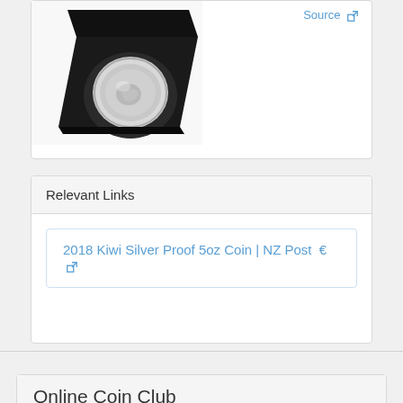[Figure (photo): Silver proof coin in a black presentation box/case, shown diagonally]
Source ↗
Relevant Links
2018 Kiwi Silver Proof 5oz Coin | NZ Post  € ↗
Online Coin Club
About
Site Blog
Advertising
Site Map